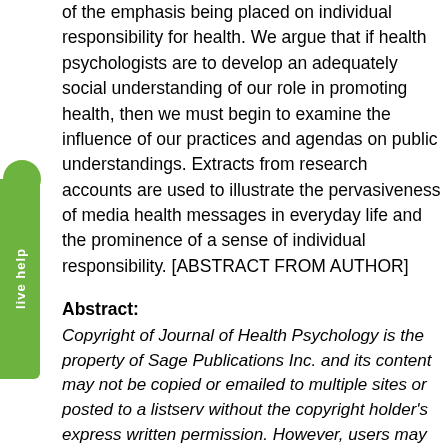of the emphasis being placed on individual responsibility for health. We argue that if health psychologists are to develop an adequately social understanding of our role in promoting health, then we must begin to examine the influence of our practices and agendas on public understandings. Extracts from research accounts are used to illustrate the pervasiveness of media health messages in everyday life and the prominence of a sense of individual responsibility. [ABSTRACT FROM AUTHOR]
Abstract:
Copyright of Journal of Health Psychology is the property of Sage Publications Inc. and its content may not be copied or emailed to multiple sites or posted to a listserv without the copyright holder's express written permission. However, users may print, download, or email articles for individual use. This abstract may be